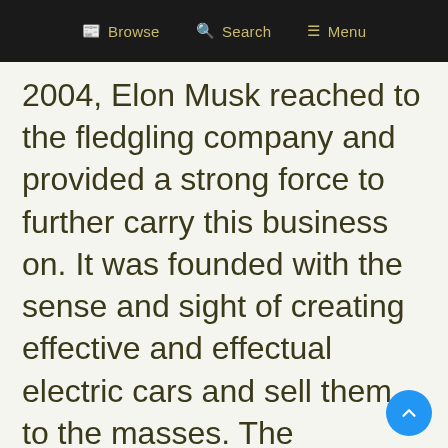Browse  Search  Menu
2004, Elon Musk reached to the fledgling company and provided a strong force to further carry this business on. It was founded with the sense and sight of creating effective and effectual electric cars and sell them to the masses. The company inaugurated its automobile industry as a niche differentiator, offering